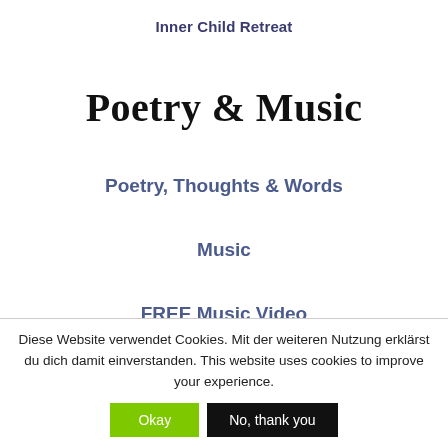Inner Child Retreat
Poetry & Music
Poetry, Thoughts & Words
Music
FREE Music Video
Diese Website verwendet Cookies. Mit der weiteren Nutzung erklärst du dich damit einverstanden. This website uses cookies to improve your experience.